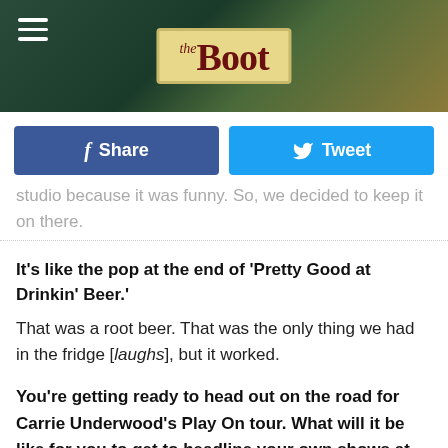the Boot
[Figure (screenshot): Facebook Share and Twitter Tweet buttons]
studio because it was funny. So, we decided to keep it on there.
It's like the pop at the end of 'Pretty Good at Drinkin' Beer.'
That was a root beer. That was the only thing we had in the fridge [laughs], but it worked.
You're getting ready to head out on the road for Carrie Underwood's Play On tour. What will it be like for you to get to headline your own shows at the big arenas and stadiums one day? Is that something you dream about doing?
I definitely dream of doing stadiums. It's always been a